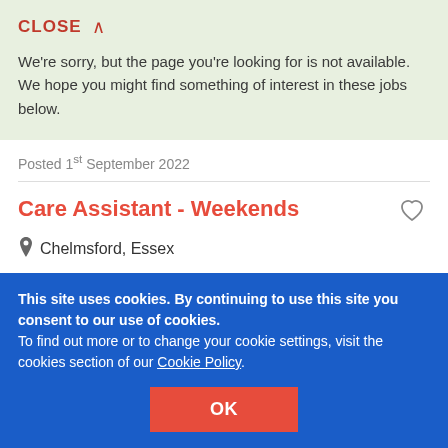CLOSE ∧
We're sorry, but the page you're looking for is not available. We hope you might find something of interest in these jobs below.
Posted 1st September 2022
Care Assistant - Weekends
Chelmsford, Essex
Bupa
£ 9.6 - 10.6 per hour
Posted 1st September 2022
This site uses cookies. By continuing to use this site you consent to our use of cookies.
To find out more or to change your cookie settings, visit the cookies section of our Cookie Policy.
OK